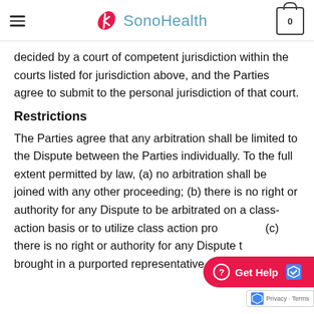SonoHealth
decided by a court of competent jurisdiction within the courts listed for jurisdiction above, and the Parties agree to submit to the personal jurisdiction of that court.
Restrictions
The Parties agree that any arbitration shall be limited to the Dispute between the Parties individually. To the full extent permitted by law, (a) no arbitration shall be joined with any other proceeding; (b) there is no right or authority for any Dispute to be arbitrated on a class-action basis or to utilize class action pro (c) there is no right or authority for any Dispute t brought in a purported representative capacity on